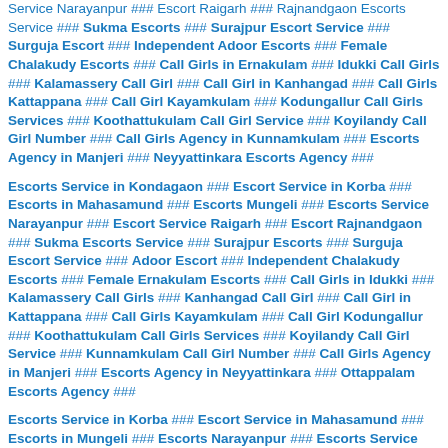Service Narayanpur ### Escort Raigarh ### Rajnandgaon Escorts Service ### Sukma Escorts ### Surajpur Escort Service ### Surguja Escort ### Independent Adoor Escorts ### Female Chalakudy Escorts ### Call Girls in Ernakulam ### Idukki Call Girls ### Kalamassery Call Girl ### Call Girl in Kanhangad ### Call Girls Kattappana ### Call Girl Kayamkulam ### Kodungallur Call Girls Services ### Koothattukulam Call Girl Service ### Koyilandy Call Girl Number ### Call Girls Agency in Kunnamkulam ### Escorts Agency in Manjeri ### Neyyattinkara Escorts Agency ###
Escorts Service in Kondagaon ### Escort Service in Korba ### Escorts in Mahasamund ### Escorts Mungeli ### Escorts Service Narayanpur ### Escort Service Raigarh ### Escort Rajnandgaon ### Sukma Escorts Service ### Surajpur Escorts ### Surguja Escort Service ### Adoor Escort ### Independent Chalakudy Escorts ### Female Ernakulam Escorts ### Call Girls in Idukki ### Kalamassery Call Girls ### Kanhangad Call Girl ### Call Girl in Kattappana ### Call Girls Kayamkulam ### Call Girl Kodungallur ### Koothattukulam Call Girls Services ### Koyilandy Call Girl Service ### Kunnamkulam Call Girl Number ### Call Girls Agency in Manjeri ### Escorts Agency in Neyyattinkara ### Ottappalam Escorts Agency ###
Escorts Service in Korba ### Escort Service in Mahasamund ### Escorts in Mungeli ### Escorts Narayanpur ### Escorts Service Raigarh ### Escort Service Rajnandgaon ### Escort Sukma ### Surajpur Escorts Service ### Surguja Escorts ### Adoor Escort Service ### Chalakudy Escort ### Independent Ernakulam Escorts ### Female Idukki Escorts ### Call Girls in Kalamassery ### Kanhangad Call Girls ### Kattappana Call Girl ### Call Girl in Kayamkulam ### Call Girls Kodungallur ### Call Girl Koothattukulam ### Koyilandy Call Girls Services ### Kunnamkulam Call Girl Service ### Manjeri Call Girl Number ### Call Girls Agency in